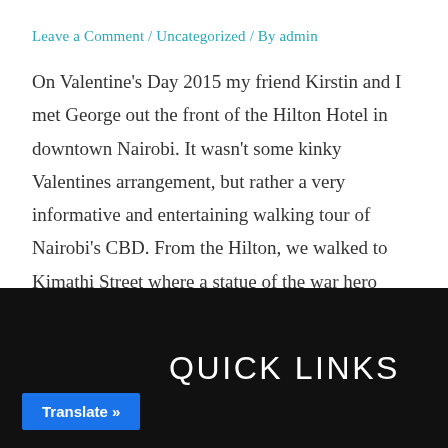Leave a Comment / Uncategorized / By admin
On Valentine's Day 2015 my friend Kirstin and I met George out the front of the Hilton Hotel in downtown Nairobi. It wasn't some kinky Valentines arrangement, but rather a very informative and entertaining walking tour of Nairobi's CBD. From the Hilton, we walked to Kimathi Street where a statue of the war hero General …
Read More »
QUICK LINKS
Translate »